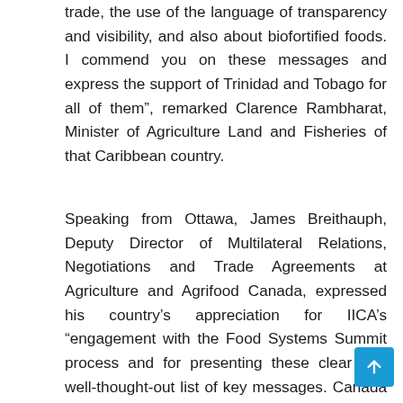trade, the use of the language of transparency and visibility, and also about biofortified foods. I commend you on these messages and express the support of Trinidad and Tobago for all of them”, remarked Clarence Rambharat, Minister of Agriculture Land and Fisheries of that Caribbean country.
Speaking from Ottawa, James Breithauph, Deputy Director of Multilateral Relations, Negotiations and Trade Agreements at Agriculture and Agrifood Canada, expressed his country’s appreciation for IICA’s “engagement with the Food Systems Summit process and for presenting these clear and well-thought-out list of key messages. Canada agrees strongly with IICA’s approach and messaging. Agricultural producers are an absolutely critical element of our food systems and the voices from the